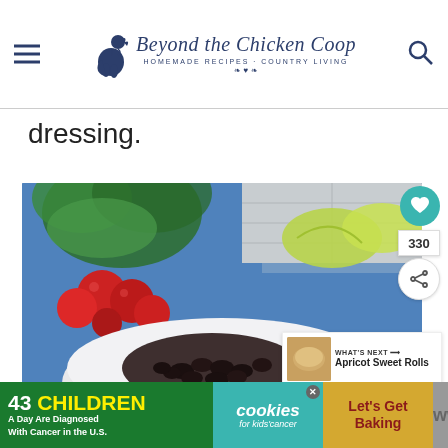Beyond the Chicken Coop — Homemade Recipes · Country Living
dressing.
[Figure (photo): Food photography showing a white bowl with black beans, cherry tomatoes, lettuce, and chicken, surrounded by fresh cilantro, tomatoes, and lime wedges on a blue cloth background.]
WHAT'S NEXT → Apricot Sweet Rolls
43 CHILDREN A Day Are Diagnosed With Cancer in the U.S. cookies for kids' cancer Let's Get Baking